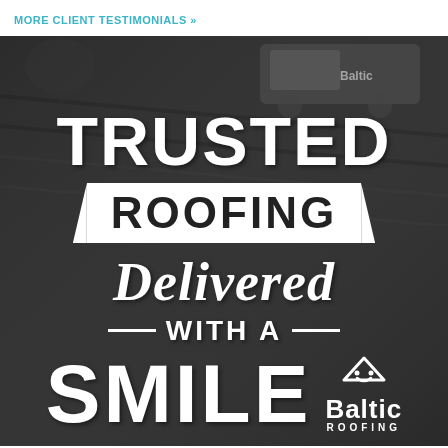MORE CLIENT TESTIMONIALS »
[Figure (photo): Dark/grayscale promotional banner for Baltic Roofing showing a rooftop and truck in the background with white bold text reading: TRUSTED ROOFING Delivered WITH A SMILE, and the Baltic Roofing logo in the bottom right.]